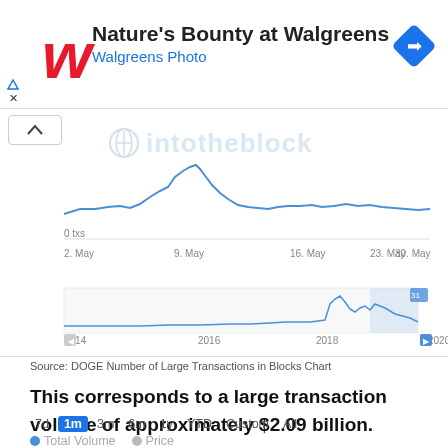[Figure (advertisement): Walgreens ad banner: Nature's Bounty at Walgreens, Walgreens Photo, with Walgreens W logo and navigation icon]
[Figure (line-chart): Line chart showing DOGE large transaction count from 2 May to 30 May, with a peak around 13 May, watermarked with intotheblock logo]
[Figure (line-chart): Mini timeline chart showing DOGE large transaction history from 2014 to 2022 with spike near 2021]
Source: DOGE Number of Large Transactions in Blocks Chart
This corresponds to a large transaction volume of approximately $2.09 billion.
7d  1m  3m  6m  1y  YTD  Custom  All
Total Volume   Price